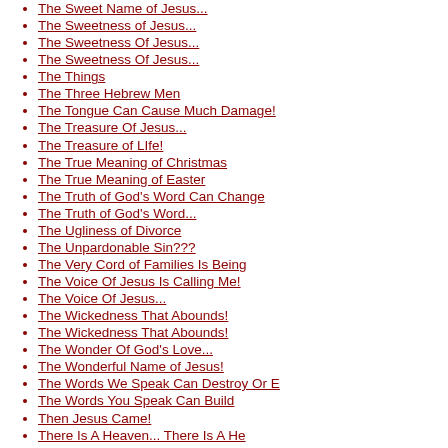The Sweet Name of Jesus...
The Sweetness of Jesus...
The Sweetness Of Jesus...
The Sweetness Of Jesus...
The Things
The Three Hebrew Men
The Tongue Can Cause Much Damage!
The Treasure Of Jesus...
The Treasure of LIfe!
The True Meaning of Christmas
The True Meaning of Easter
The Truth of God's Word Can Change
The Truth of God's Word...
The Ugliness of Divorce
The Unpardonable Sin???
The Very Cord of Families Is Being
The Voice Of Jesus Is Calling Me!
The Voice Of Jesus...
The Wickedness That Abounds!
The Wickedness That Abounds!
The Wonder Of God's Love...
The Wonderful Name of Jesus!
The Words We Speak Can Destroy Or E
The Words You Speak Can Build
Then Jesus Came!
There Is A Heaven... There Is A He
There Is A Savior Who Loves You!
There Is An Answer! It's Jesus!
There Shall Come a Great Tribulatio
There Was a Time I Once Loved God